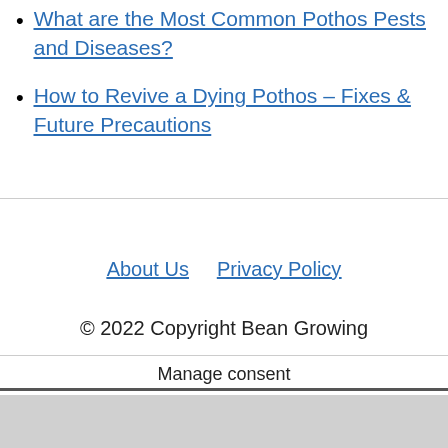What are the Most Common Pothos Pests and Diseases?
How to Revive a Dying Pothos – Fixes & Future Precautions
About Us   Privacy Policy
© 2022 Copyright Bean Growing
Manage consent
[Figure (photo): Advertisement banner showing an airplane being loaded with cargo, with text 'WITHOUT REGARD TO POLITICS, RELIGION, OR ABILITY TO PAY']